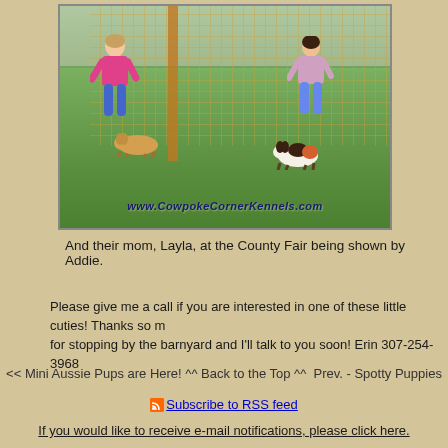[Figure (photo): Two girls with dogs on a green grass field with orange mesh fencing in the background. One girl wears pink, the other wears a light top. Each girl is near a small dog. Watermark reads www.CowpokeCornerKennels.com]
And their mom, Layla, at the County Fair being shown by Addie.
Please give me a call if you are interested in one of these little cuties! Thanks so much for stopping by the barnyard and I'll talk to you soon! Erin 307-254-3968
<< Mini Aussie Pups are Here! ^^ Back to the Top ^^  Prev. - Spotty Puppies
Subscribe to RSS feed
If you would like to receive e-mail notifications, please click here.